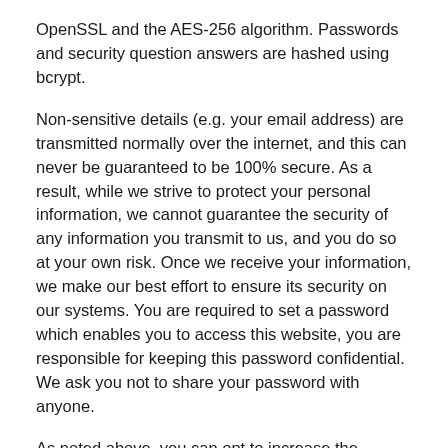OpenSSL and the AES-256 algorithm. Passwords and security question answers are hashed using bcrypt.
Non-sensitive details (e.g. your email address) are transmitted normally over the internet, and this can never be guaranteed to be 100% secure. As a result, while we strive to protect your personal information, we cannot guarantee the security of any information you transmit to us, and you do so at your own risk. Once we receive your information, we make our best effort to ensure its security on our systems. You are required to set a password which enables you to access this website, you are responsible for keeping this password confidential. We ask you not to share your password with anyone.
As noted above, you can opt to increase the security associated with your account by activating two-factor authentication once you are registered with the website.